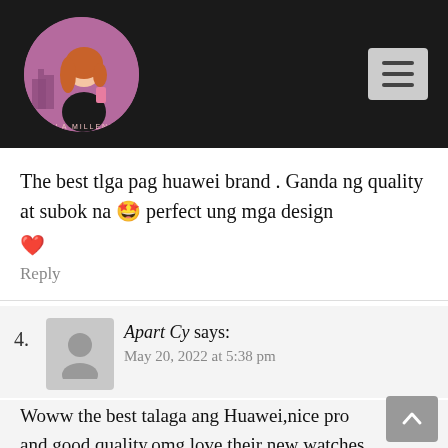[Figure (logo): Manila Millennial blog logo — circular illustration of a girl with red hair holding a phone, city skyline in background, text 'MANILA MILLENNIAL' around the circle]
The best tlga pag huawei brand . Ganda ng quality at subok na 🤩 perfect ung mga design ❤️
Reply
4.  Apart Cy says:
May 20, 2022 at 5:38 pm
Woww the best talaga ang Huawei,nice pro and good quality,omg,love their new watches